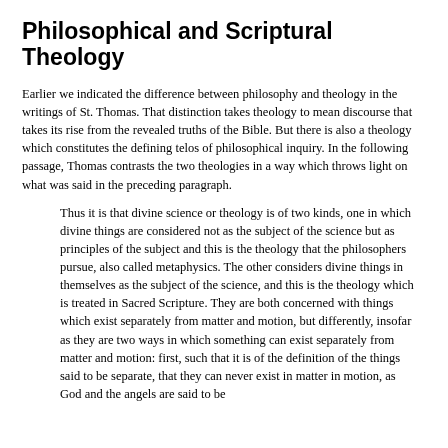Philosophical and Scriptural Theology
Earlier we indicated the difference between philosophy and theology in the writings of St. Thomas. That distinction takes theology to mean discourse that takes its rise from the revealed truths of the Bible. But there is also a theology which constitutes the defining telos of philosophical inquiry. In the following passage, Thomas contrasts the two theologies in a way which throws light on what was said in the preceding paragraph.
Thus it is that divine science or theology is of two kinds, one in which divine things are considered not as the subject of the science but as principles of the subject and this is the theology that the philosophers pursue, also called metaphysics. The other considers divine things in themselves as the subject of the science, and this is the theology which is treated in Sacred Scripture. They are both concerned with things which exist separately from matter and motion, but differently, insofar as they are two ways in which something can exist separately from matter and motion: first, such that it is of the definition of the things said to be separate, that they can never exist in matter in motion, as God and the angels are said to be